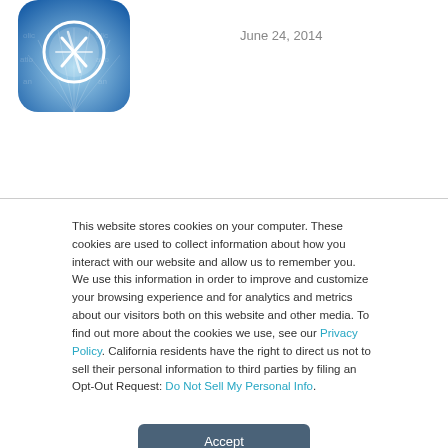[Figure (screenshot): iOS App Store icon — blue gradient background with white compass/pencil tool icon in a white circle, shown partially cropped with repeated background text]
June 24, 2014
This website stores cookies on your computer. These cookies are used to collect information about how you interact with our website and allow us to remember you. We use this information in order to improve and customize your browsing experience and for analytics and metrics about our visitors both on this website and other media. To find out more about the cookies we use, see our Privacy Policy. California residents have the right to direct us not to sell their personal information to third parties by filing an Opt-Out Request: Do Not Sell My Personal Info.
Accept